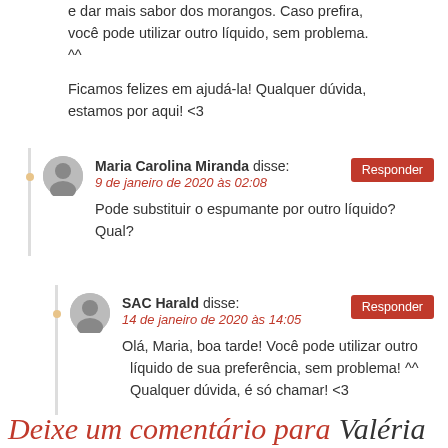e dar mais sabor dos morangos. Caso prefira, você pode utilizar outro líquido, sem problema. ^^

Ficamos felizes em ajudá-la! Qualquer dúvida, estamos por aqui! <3
Maria Carolina Miranda disse:
9 de janeiro de 2020 às 02:08
Pode substituir o espumante por outro líquido? Qual?
SAC Harald disse:
14 de janeiro de 2020 às 14:05
Olá, Maria, boa tarde! Você pode utilizar outro líquido de sua preferência, sem problema! ^^ Qualquer dúvida, é só chamar! <3
Deixe um comentário para Valéria